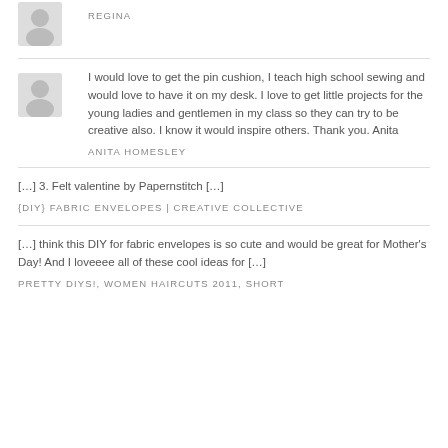REGINA
I would love to get the pin cushion, I teach high school sewing and would love to have it on my desk. I love to get little projects for the young ladies and gentlemen in my class so they can try to be creative also. I know it would inspire others. Thank you. Anita
ANITA HOMESLEY
[…] 3. Felt valentine by Papernstitch […]
{DIY} FABRIC ENVELOPES | CREATIVE COLLECTIVE
[…] think this DIY for fabric envelopes is so cute and would be great for Mother's Day! And I loveeee all of these cool ideas for […]
PRETTY DIYS!, WOMEN HAIRCUTS 2011, SHORT